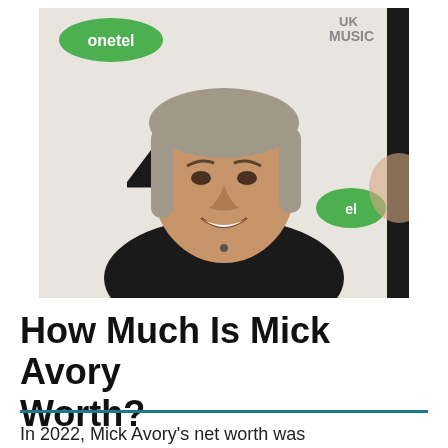[Figure (photo): A middle-aged man with grey shoulder-length hair, wearing a black shirt, smiling at the camera. Behind him are logos including 'onetel' (green oval logo), a Channel 4 logo (black stylized 4), 'el' (partial onetel logo in green), and 'UK MUSIC' text. White background with event branding.]
How Much Is Mick Avory Worth?
In 2022, Mick Avory's net worth was